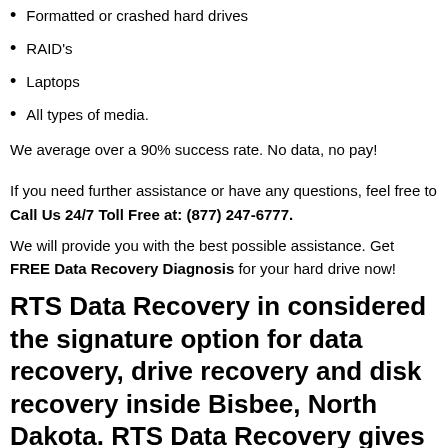Formatted or crashed hard drives
RAID's
Laptops
All types of media.
We average over a 90% success rate. No data, no pay!
If you need further assistance or have any questions, feel free to Call Us 24/7 Toll Free at: (877) 247-6777.
We will provide you with the best possible assistance. Get FREE Data Recovery Diagnosis for your hard drive now!
RTS Data Recovery in considered the signature option for data recovery, drive recovery and disk recovery inside Bisbee, North Dakota. RTS Data Recovery gives